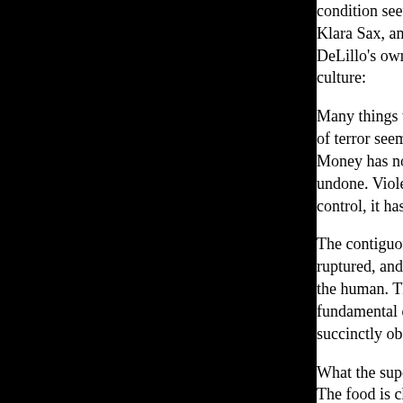condition seething below the surface of m... Klara Sax, an artist in the novel who, per... DeLillo's own critical stance, offers an as... culture:
Many things that were anchored in the ba... of terror seem to be undone, unstuck. Thi... Money has not limits. I don't understand ... undone. Violence is undone, violence is e... control, it has not measure anymore, it ha...
The contiguous relationship of object and... ruptured, and value as a measurable sum ... the human. The dis-ease between materia... fundamental characteristic of American c... succinctly observes in his reading of DeL...
What the supermarket gives us is not real... The food is chemically composed, canne... consume it all. The supermarket (a trope ... filled with an abundance of items, but the... not the tangible item, the real thing, but w... in an endless deferment. (121-22)
The consumer fluctuates between image a... signified, in an unending loop that perpet... chain of fetishized objects, which are utte... "promise" of satisfaction. Goodheart inte... "meditations [that] serve as a revelation c... a killer boredom to which our consuming... an antidote" (121). While this self-perpet... manifestation of boredom, it is also an em... being in the world. That is, the individual...